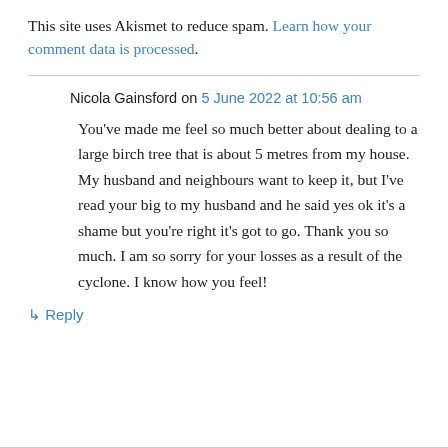This site uses Akismet to reduce spam. Learn how your comment data is processed.
Nicola Gainsford on 5 June 2022 at 10:56 am
You've made me feel so much better about dealing to a large birch tree that is about 5 metres from my house. My husband and neighbours want to keep it, but I've read your big to my husband and he said yes ok it's a shame but you're right it's got to go. Thank you so much. I am so sorry for your losses as a result of the cyclone. I know how you feel!
↳ Reply